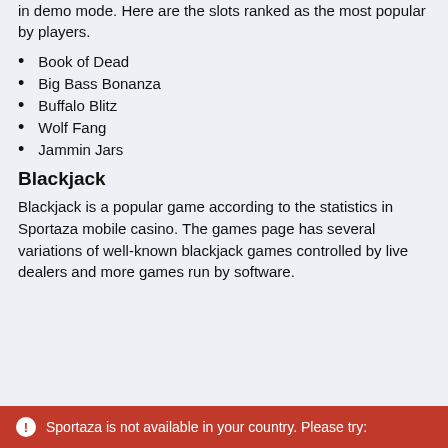in demo mode. Here are the slots ranked as the most popular by players.
Book of Dead
Big Bass Bonanza
Buffalo Blitz
Wolf Fang
Jammin Jars
Blackjack
Blackjack is a popular game according to the statistics in Sportaza mobile casino. The games page has several variations of well-known blackjack games controlled by live dealers and more games run by software.
Sportaza is not available in your country. Please try: